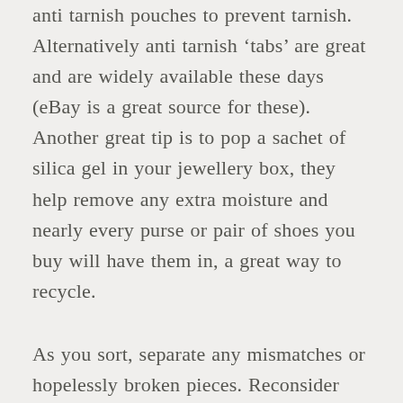anti tarnish pouches to prevent tarnish. Alternatively anti tarnish 'tabs' are great and are widely available these days (eBay is a great source for these). Another great tip is to pop a sachet of silica gel in your jewellery box, they help remove any extra moisture and nearly every purse or pair of shoes you buy will have them in, a great way to recycle.
As you sort, separate any mismatches or hopelessly broken pieces. Reconsider keeping anything out-of-date or that you haven't worn in years. If a broken piece of jewellery can be repaired and you still want it, then set it aside to fix later. Remember, don't just throw away any precious metals, you will be surprised at the weigh